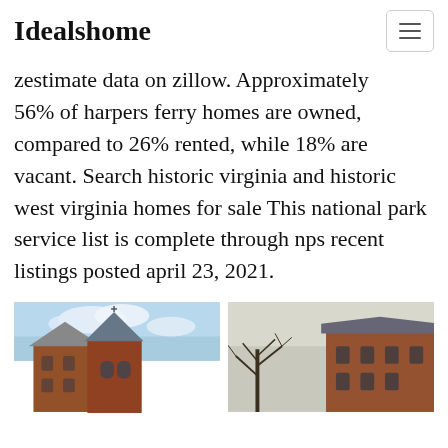Idealshome
zestimate data on zillow. Approximately 56% of harpers ferry homes are owned, compared to 26% rented, while 18% are vacant. Search historic virginia and historic west virginia homes for sale This national park service list is complete through nps recent listings posted april 23, 2021.
[Figure (photo): Two photos of historic brick buildings with Victorian architecture, including a round turret tower, photographed in winter with bare trees and blue sky.]